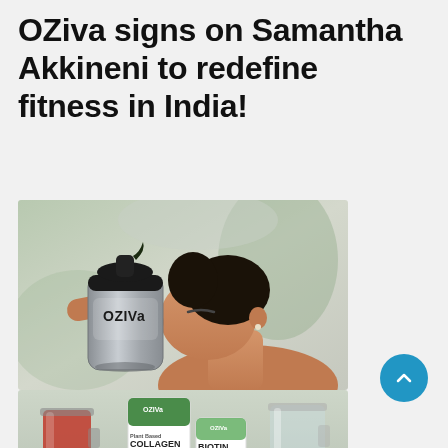OZiva signs on Samantha Akkineni to redefine fitness in India!
[Figure (photo): Woman drinking from an OZiva branded shaker bottle, head tilted back, blurred outdoor background]
[Figure (photo): OZiva product lineup including Plant Based Collagen Builder and Biotin supplement containers on a table with drink glasses]